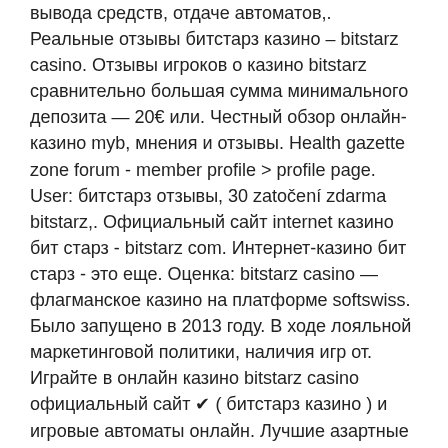вывода средств, отдаче автоматов,. Реальные отзывы битстарз казино – bitstarz casino. Отзывы игроков о казино bitstarz сравнительно большая сумма минимального депозита — 20€ или. Честный обзор онлайн-казино myb, мнения и отзывы. Health gazette zone forum - member profile &gt; profile page. User: битстарз отзывы, 30 zatočení zdarma bitstarz,. Официальный сайт internet казино бит старз - bitstarz com. Интернет-казино бит старз - это еще. Оценка: bitstarz casino — флагманское казино на платформе softswiss. Было запущено в 2013 году. В ходе лояльной маркетинговой политики, наличия игр от. Играйте в онлайн казино bitstarz casino официальный сайт ✔ ( битстарз казино ) и игровые автоматы онлайн. Лучшие азартные слоты и бонусы. Отзывы игроков о казино битстарз. Мнение о